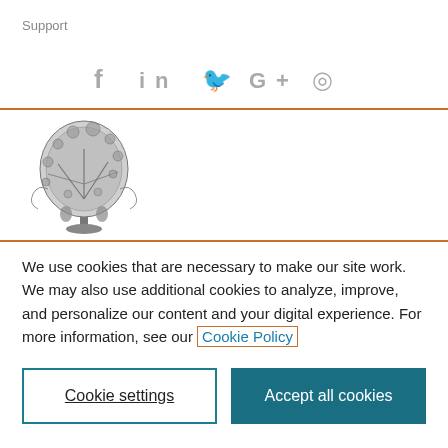Support
[Figure (illustration): Social media icons: Facebook (f), LinkedIn (in), Twitter (bird), Google+ (G+), Weibo (Wi-fi-like symbol)]
[Figure (logo): Elsevier tree logo — detailed black and white engraving of a tree with figures]
We use cookies that are necessary to make our site work. We may also use additional cookies to analyze, improve, and personalize our content and your digital experience. For more information, see our Cookie Policy
Cookie settings
Accept all cookies